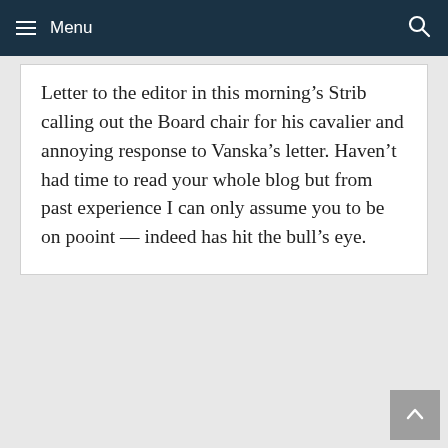Menu
Letter to the editor in this morning’s Strib calling out the Board chair for his cavalier and annoying response to Vanska’s letter. Haven’t had time to read your whole blog but from past experience I can only assume you to be on pooint — indeed has hit the bull’s eye.
Bill Slobotski
May 6, 2013 at 4:03 pm
There is a movement to call and email Jon